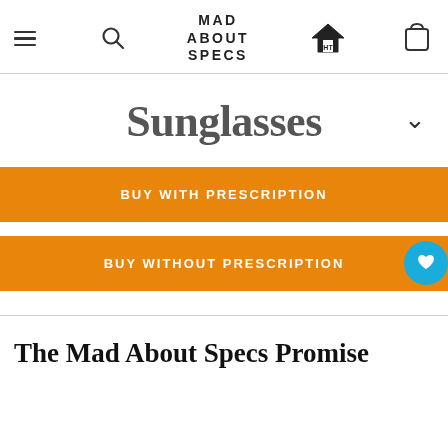MAD ABOUT SPECS
Sunglasses
BUY WITH PRESCRIPTION
BUY WITHOUT PRESCRIPTION
The Mad About Specs Promise